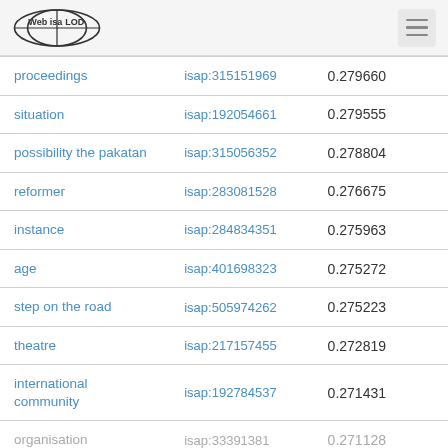Web isa LOD
| term | isap id | score |
| --- | --- | --- |
| proceedings | isap:315151969 | 0.279660 |
| situation | isap:192054661 | 0.279555 |
| possibility the pakatan | isap:315056352 | 0.278804 |
| reformer | isap:283081528 | 0.276675 |
| instance | isap:284834351 | 0.275963 |
| age | isap:401698323 | 0.275272 |
| step on the road | isap:505974262 | 0.275223 |
| theatre | isap:217157455 | 0.272819 |
| international community | isap:192784537 | 0.271431 |
| organisation | isap:33391381 | 0.271128 |